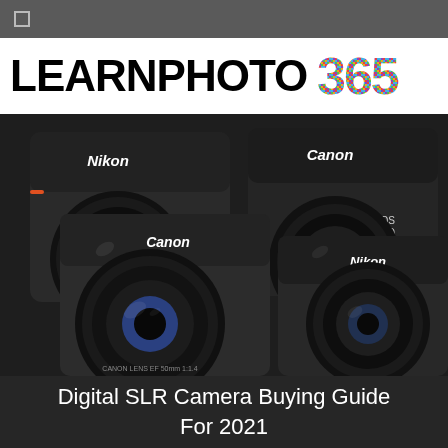☐
LEARNPHOTO 365
[Figure (photo): Multiple DSLR cameras arranged together including Nikon and Canon models (Canon EOS 700D, Canon EOS 5D, Nikon) with various lenses visible, photographed against a dark background.]
Digital SLR Camera Buying Guide For 2021